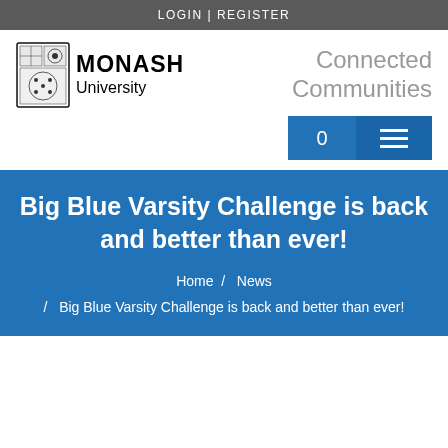LOGIN | REGISTER
[Figure (logo): Monash University crest and wordmark logo with 'Connected Communities' text]
Big Blue Varsity Challenge is back and better than ever!
Home / News / Big Blue Varsity Challenge is back and better than ever!